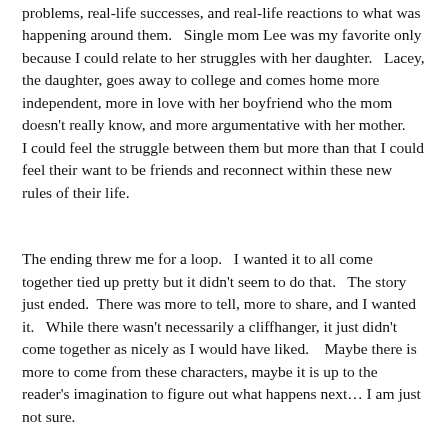problems, real-life successes, and real-life reactions to what was happening around them.   Single mom Lee was my favorite only because I could relate to her struggles with her daughter.   Lacey, the daughter, goes away to college and comes home more independent, more in love with her boyfriend who the mom doesn't really know, and more argumentative with her mother.    I could feel the struggle between them but more than that I could feel their want to be friends and reconnect within these new rules of their life.
The ending threw me for a loop.   I wanted it to all come together tied up pretty but it didn't seem to do that.   The story just ended.  There was more to tell, more to share, and I wanted it.   While there wasn't necessarily a cliffhanger, it just didn't come together as nicely as I would have liked.    Maybe there is more to come from these characters, maybe it is up to the reader's imagination to figure out what happens next… I am just not sure.